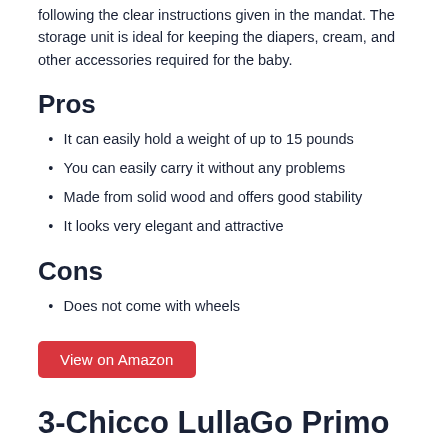following the clear instructions given in the mandat. The storage unit is ideal for keeping the diapers, cream, and other accessories required for the baby.
Pros
It can easily hold a weight of up to 15 pounds
You can easily carry it without any problems
Made from solid wood and offers good stability
It looks very elegant and attractive
Cons
Does not come with wheels
View on Amazon
3-Chicco LullaGo Primo Portable Bassinet